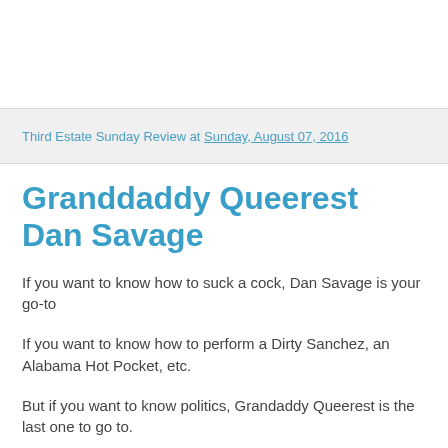Third Estate Sunday Review at Sunday, August 07, 2016
Granddaddy Queerest Dan Savage
If you want to know how to suck a cock, Dan Savage is your go-to
If you want to know how to perform a Dirty Sanchez, an Alabama Hot Pocket, etc.
But if you want to know politics, Grandaddy Queerest is the last one to go to.
51 is what -- 103 in White, middle-class gay years?